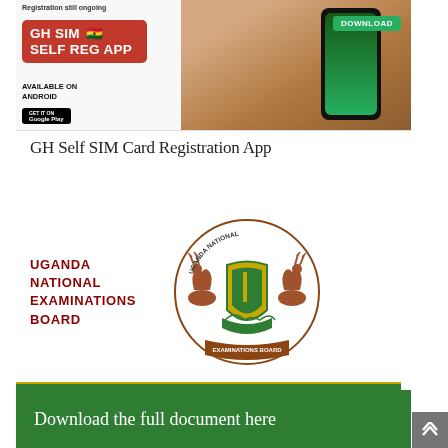[Figure (screenshot): GH SIM Self Registration App advertisement banner showing red box with app name, phone held in hand with Download button, 'Registration still ongoing', 'Available on Android' with Google Play button]
GH Self SIM Card Registration App
UGANDA NATIONAL EXAMINATIONS BOARD
[Figure (logo): Uganda National Examinations Board coat of arms/crest with animals and shield, circular text reading UGANDA NATIONAL and EXAMINATIONS BOARD]
Download the full document here